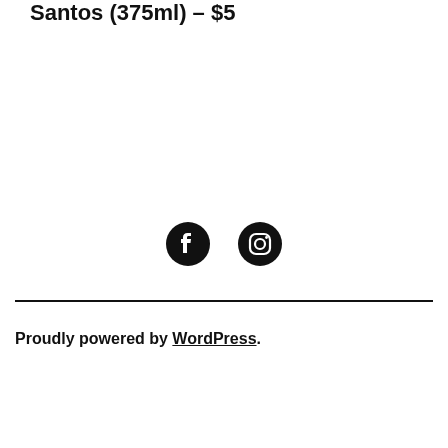Santos (375ml) – $5
[Figure (illustration): Facebook and Instagram social media icons (black circular icons)]
Proudly powered by WordPress.